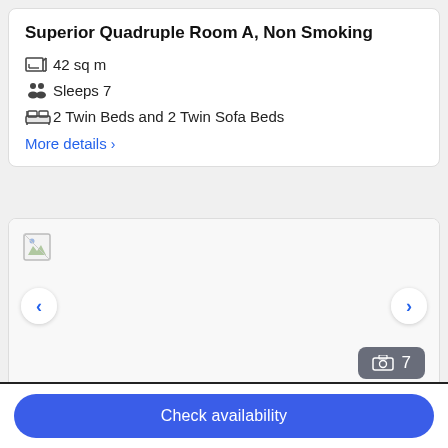Superior Quadruple Room A, Non Smoking
42 sq m
Sleeps 7
2 Twin Beds and 2 Twin Sofa Beds
More details ›
[Figure (photo): Hotel room photo slideshow placeholder with navigation arrows and photo count badge showing 7 photos]
Check availability